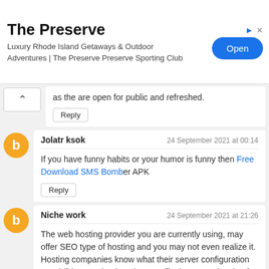[Figure (other): Advertisement banner for 'The Preserve' — Luxury Rhode Island Getaways & Outdoor Adventures | The Preserve Preserve Sporting Club — with an 'Open' button]
as the are open for public and refreshed.
Reply
Jolatr ksok
24 September 2021 at 00:14
If you have funny habits or your humor is funny then Free Download SMS Bomber APK
Reply
Niche work
24 September 2021 at 21:26
The web hosting provider you are currently using, may offer SEO type of hosting and you may not even realize it. Hosting companies know what their server configuration capabilities are, but just doesn't offer it as SEO hosting for whatever reason. SEO Hosting is a